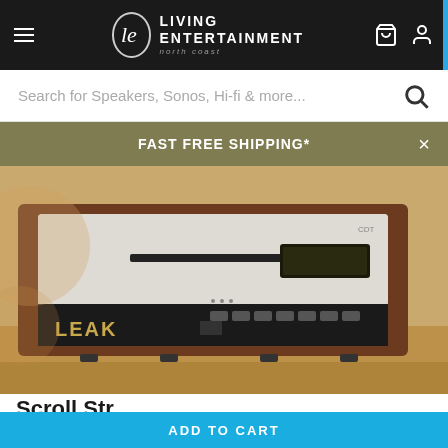Living Entertainment - North Coast
Search for Speakers, Sonos, Hi-fi & more...
FAST FREE SHIPPING*
[Figure (photo): LEAK branded CD player/audio component in a walnut wood case with silver brushed metal front panel, featuring a CD slot, digital display, and control buttons with 'LEAK' branding, placed on a wooden surface]
ADD TO CART